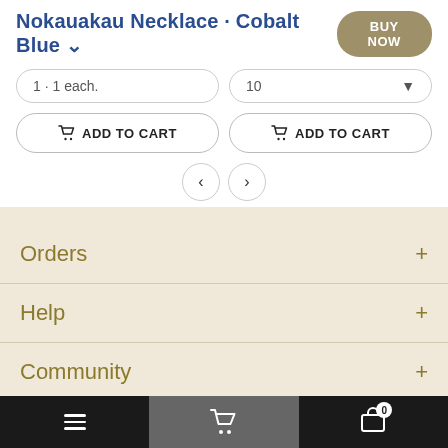Nokauakau Necklace · Cobalt Blue ▾  BUY NOW
1 · 1 each.    10 ▾
🛒 ADD TO CART   🛒 ADD TO CART
‹   ›
Orders +
Help +
Community +
COPYRIGHT © 2020 UI' JEWELRY
☰  🛒  🛒 0